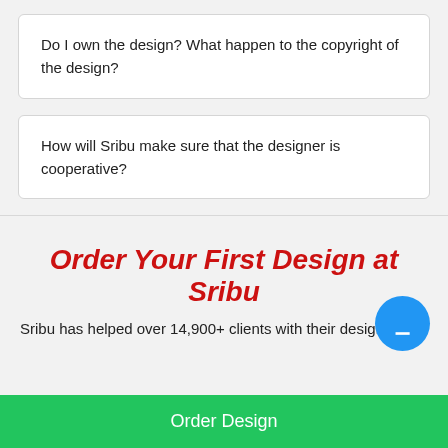Do I own the design? What happen to the copyright of the design?
How will Sribu make sure that the designer is cooperative?
Order Your First Design at Sribu
Sribu has helped over 14,900+ clients with their design
Order Design